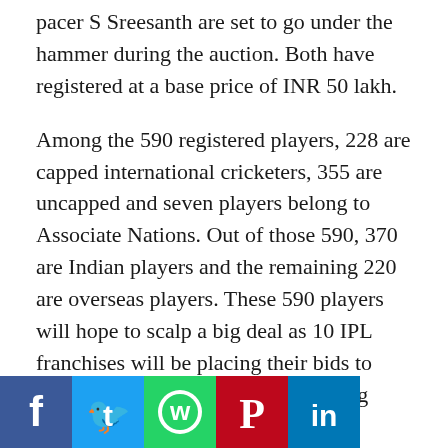pacer S Sreesanth are set to go under the hammer during the auction. Both have registered at a base price of INR 50 lakh.
Among the 590 registered players, 228 are capped international cricketers, 355 are uncapped and seven players belong to Associate Nations. Out of those 590, 370 are Indian players and the remaining 220 are overseas players. These 590 players will hope to scalp a big deal as 10 IPL franchises will be placing their bids to rope in some of the biggest cricketing names.
A strong battle to get the services of some of the finest Indian cricket talents is on the cards when the likes of Suresh Raina, Ravichandran Ashwin, Shikhar Dhawan, Shreyas Iyer, Shardul Thakur, Deepak Chahar, etc. under the hammer. David Warner, Ben Stokes, Pat Cummins, Ashwin,
[Figure (other): Social media share bar with Facebook, Twitter, WhatsApp, Pinterest, and LinkedIn icons]